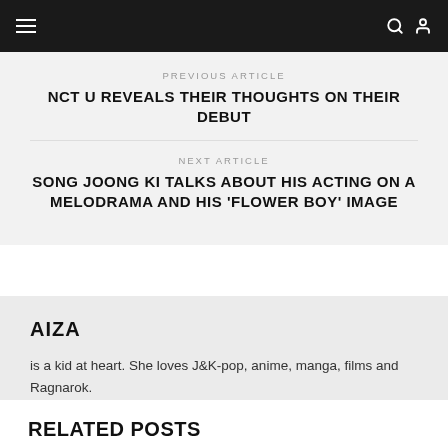≡  🔍 👤
PREVIOUS ARTICLE
NCT U REVEALS THEIR THOUGHTS ON THEIR DEBUT
NEXT ARTICLE
SONG JOONG KI TALKS ABOUT HIS ACTING ON A MELODRAMA AND HIS 'FLOWER BOY' IMAGE
AIZA
is a kid at heart. She loves J&K-pop, anime, manga, films and Ragnarok.
RELATED POSTS